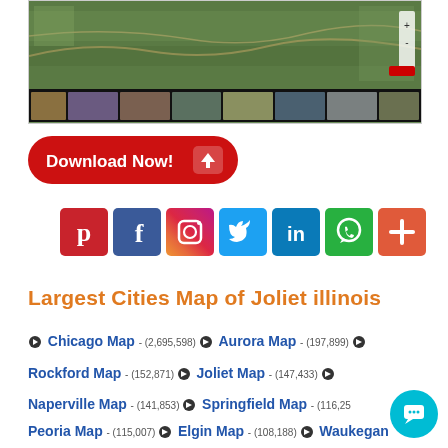[Figure (map): Satellite aerial map view of Joliet, Illinois with photo strip thumbnails at bottom]
[Figure (infographic): Red rounded Download Now button with down arrow icon]
[Figure (infographic): Row of social media icons: Pinterest, Facebook, Instagram, Twitter, LinkedIn, WhatsApp, More]
Largest Cities Map of Joliet illinois
Chicago Map - (2,695,598) Aurora Map - (197,899)
Rockford Map - (152,871) Joliet Map - (147,433)
Naperville Map - (141,853) Springfield Map - (116,25...)
Peoria Map - (115,007) Elgin Map - (108,188) Waukegan